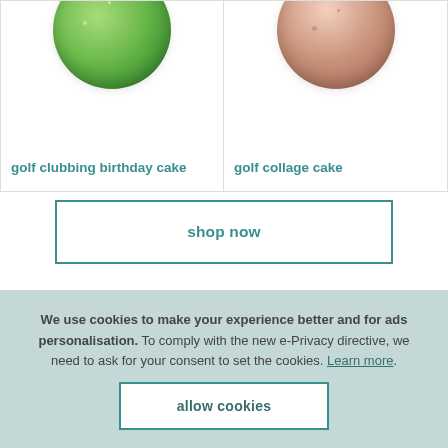[Figure (photo): Partial view of two round cake product cards side by side. Left card shows a green decorative cake (golf clubbing birthday cake). Right card shows a pink/brown decorative cake (golf collage cake).]
golf clubbing birthday cake
golf collage cake
shop now
We use cookies to make your experience better and for ads personalisation. To comply with the new e-Privacy directive, we need to ask for your consent to set the cookies. Learn more. allow cookies